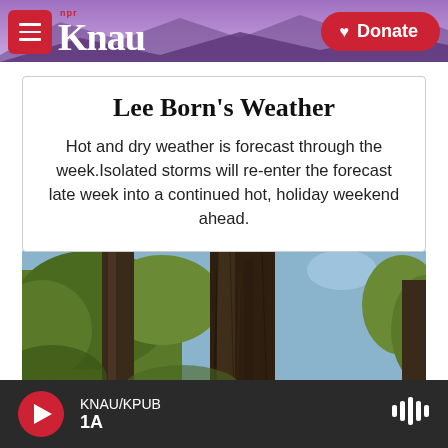KNAU NPR | Donate
Lee Born's Weather
Hot and dry weather is forecast through the week.Isolated storms will re-enter the forecast late week into a continued hot, holiday weekend ahead.
[Figure (photo): Close-up photograph of pine tree trunks with green foliage visible in the background and blue sky]
KNAU/KPUB | 1A